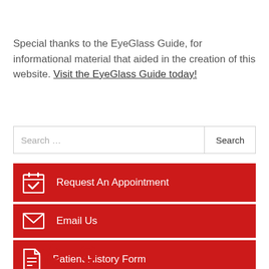Special thanks to the EyeGlass Guide, for informational material that aided in the creation of this website. Visit the EyeGlass Guide today!
Search ...
Request An Appointment
Email Us
Patient History Form